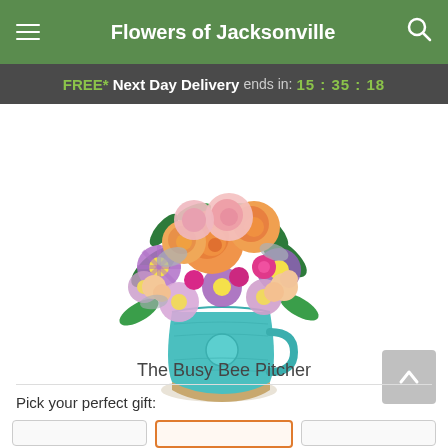Flowers of Jacksonville
FREE* Next Day Delivery ends in: 15:35:18
[Figure (photo): A floral arrangement featuring orange roses, purple asters, pink carnations, and lavender daisies in a teal ribbed ceramic pitcher with a bee motif.]
The Busy Bee Pitcher
Pick your perfect gift: